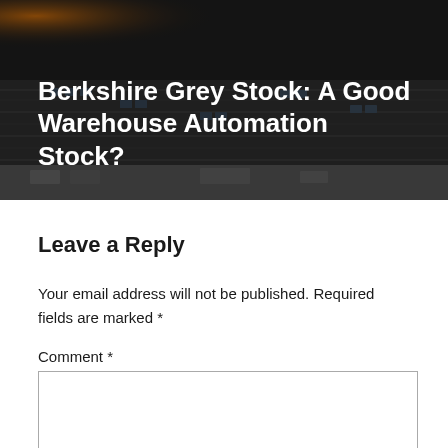[Figure (photo): Aerial view of a large warehouse/distribution center with rooftop solar panels, used as hero background image.]
Berkshire Grey Stock: A Good Warehouse Automation Stock?
Leave a Reply
Your email address will not be published. Required fields are marked *
Comment *